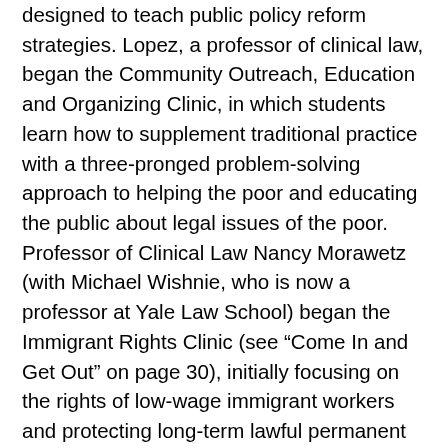designed to teach public policy reform strategies. Lopez, a professor of clinical law, began the Community Outreach, Education and Organizing Clinic, in which students learn how to supplement traditional practice with a three-pronged problem-solving approach to helping the poor and educating the public about legal issues of the poor. Professor of Clinical Law Nancy Morawetz (with Michael Wishnie, who is now a professor at Yale Law School) began the Immigrant Rights Clinic (see “Come In and Get Out” on page 30), initially focusing on the rights of low-wage immigrant workers and protecting long-term lawful permanent residents from detention and deportation due to a criminal offense. Taylor-Thompson, a professor of clinical law, began the Community Defender Clinic, which teaches students to explore ways for defender offices to reinvent themselves and assume a broader role in the criminal-justice community by engaging in community outreach, building coalitions and participating in community action, and employing a wide variety of litigative and nonlitigative strategies, including legislative advocacy, community education, and media campaigns. Thompson, a professor of clinical law, launched the Offender Reentry Clinic (see “Beyond Law &